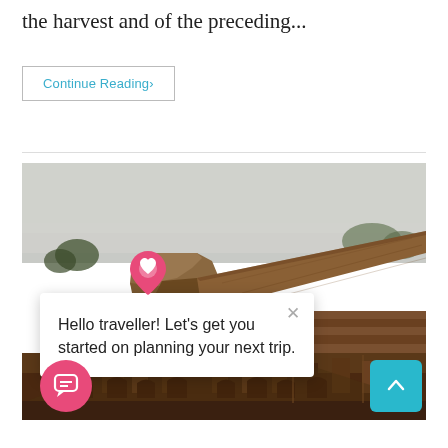the harvest and of the preceding...
Continue Reading›
[Figure (photo): Ancient brick ruins (likely Nalanda or similar Indian archaeological site) with steps and walls, misty sky in background]
Hello traveller! Let's get you started on planning your next trip.